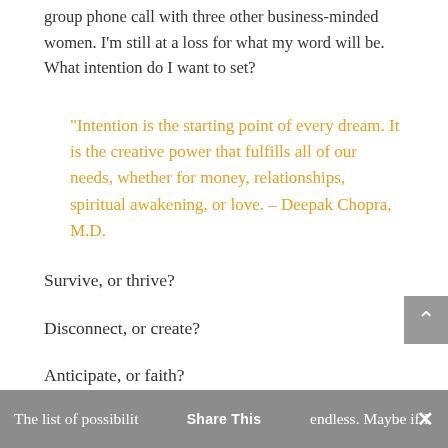group phone call with three other business-minded women. I'm still at a loss for what my word will be. What intention do I want to set?
“Intention is the starting point of every dream. It is the creative power that fulfills all of our needs, whether for money, relationships, spiritual awakening, or love. – Deepak Chopra, M.D.
Survive, or thrive?
Disconnect, or create?
Anticipate, or faith?
The list of possibilities endless. Maybe if I  Share This  ×